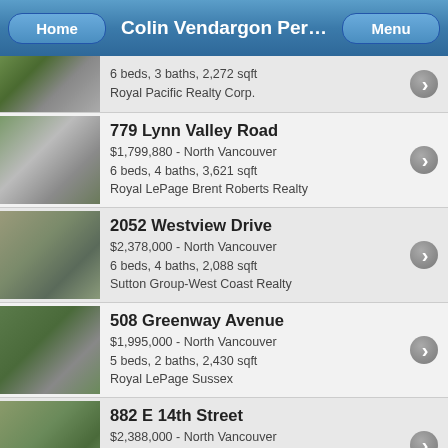Colin Vendargon Per…
6 beds, 3 baths, 2,272 sqft
Royal Pacific Realty Corp.
779 Lynn Valley Road
$1,799,880 - North Vancouver
6 beds, 4 baths, 3,621 sqft
Royal LePage Brent Roberts Realty
2052 Westview Drive
$2,378,000 - North Vancouver
6 beds, 4 baths, 2,088 sqft
Sutton Group-West Coast Realty
508 Greenway Avenue
$1,995,000 - North Vancouver
5 beds, 2 baths, 2,430 sqft
Royal LePage Sussex
882 E 14th Street
$2,388,000 - North Vancouver
5 beds, 3 baths, 2,441 sqft
Royal LePage Sussex
3221 Wayne Drive
$2,098,000 - North Vancouver
5 beds, 5 baths, 3,394 sqft